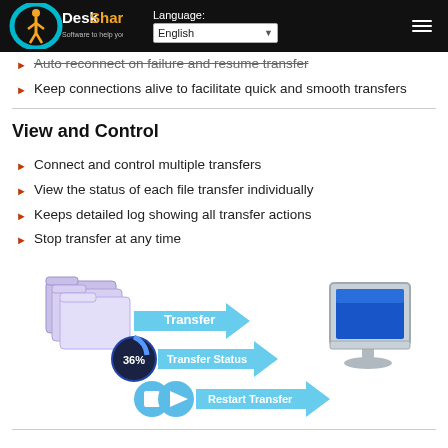DeskShare — Software to help you excel | Language: English
Auto reconnect on failure and resume transfer
Keep connections alive to facilitate quick and smooth transfers
View and Control
Connect and control multiple transfers
View the status of each file transfer individually
Keeps detailed log showing all transfer actions
Stop transfer at any time
[Figure (illustration): Diagram showing file transfer workflow: folders icon with 'Transfer' arrow, a progress indicator showing '36%' with 'Transfer Status' arrow, and 'Restart Transfer' arrow button, all pointing toward a desktop computer monitor.]